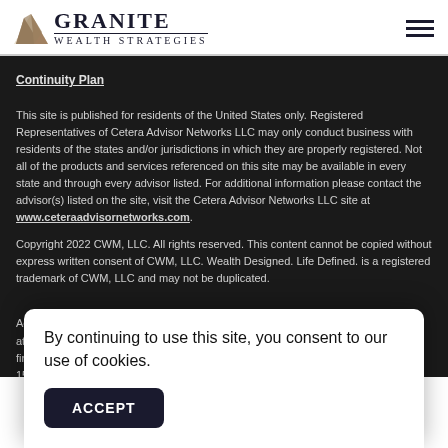[Figure (logo): Granite Wealth Strategies logo with rock/mountain graphic and company name]
Continuity Plan
This site is published for residents of the United States only. Registered Representatives of Cetera Advisor Networks LLC may only conduct business with residents of the states and/or jurisdictions in which they are properly registered. Not all of the products and services referenced on this site may be available in every state and through every advisor listed. For additional information please contact the advisor(s) listed on the site, visit the Cetera Advisor Networks LLC site at www.ceteraadvisornetworks.com.
Copyright 2022 CWM, LLC. All rights reserved. This content cannot be copied without express written consent of CWM, LLC. Wealth Designed. Life Defined. is a registered trademark of CWM, LLC and may not be duplicated.
Ad... at y... r firm... per 15...
By continuing to use this site, you consent to our use of cookies.